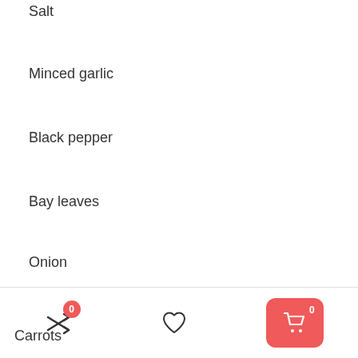Salt
Minced garlic
Black pepper
Bay leaves
Onion
Potatoes
Carrots
0  [heart icon]  0 [cart icon]